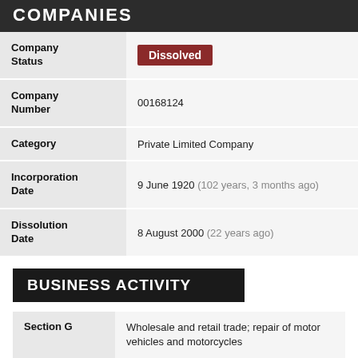COMPANIES
| Field | Value |
| --- | --- |
| Company Status | Dissolved |
| Company Number | 00168124 |
| Category | Private Limited Company |
| Incorporation Date | 9 June 1920 (102 years, 3 months ago) |
| Dissolution Date | 8 August 2000 (22 years ago) |
BUSINESS ACTIVITY
| Section | Description |
| --- | --- |
| Section G | Wholesale and retail trade; repair of motor vehicles and motorcycles |